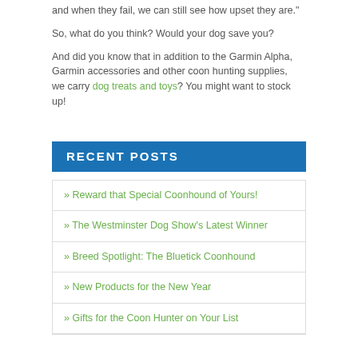and when they fail, we can still see how upset they are."
So, what do you think? Would your dog save you?
And did you know that in addition to the Garmin Alpha, Garmin accessories and other coon hunting supplies, we carry dog treats and toys? You might want to stock up!
RECENT POSTS
» Reward that Special Coonhound of Yours!
» The Westminster Dog Show's Latest Winner
» Breed Spotlight: The Bluetick Coonhound
» New Products for the New Year
» Gifts for the Coon Hunter on Your List